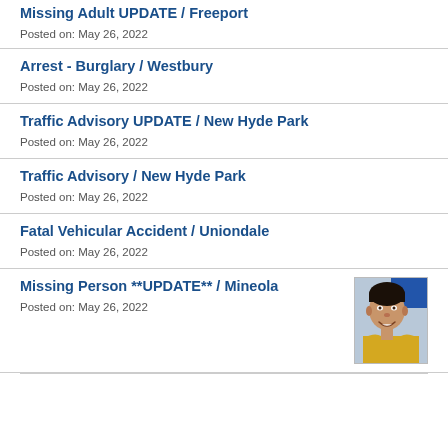Missing Adult UPDATE / Freeport
Posted on: May 26, 2022
Arrest - Burglary / Westbury
Posted on: May 26, 2022
Traffic Advisory UPDATE / New Hyde Park
Posted on: May 26, 2022
Traffic Advisory / New Hyde Park
Posted on: May 26, 2022
Fatal Vehicular Accident / Uniondale
Posted on: May 26, 2022
Missing Person **UPDATE** / Mineola
Posted on: May 26, 2022
[Figure (photo): Photo of a smiling man wearing a yellow shirt, dark hair, used for missing person notice]